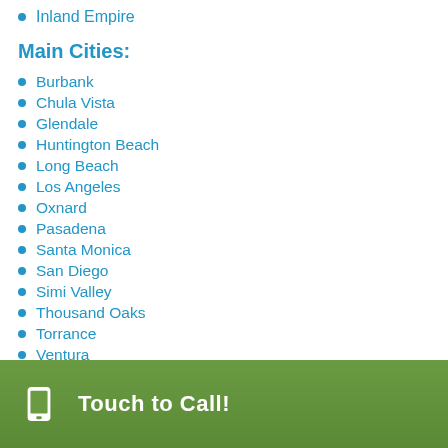Inland Empire
Main Cities:
Burbank
Chula Vista
Glendale
Huntington Beach
Long Beach
Los Angeles
Oxnard
Pasadena
Santa Monica
San Diego
Simi Valley
Thousand Oaks
Torrance
Ventura
Touch to Call!